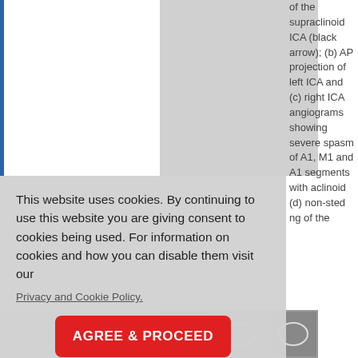[Figure (photo): Top-left white image panel showing medical angiogram, with blue left border strip]
[Figure (photo): Top-center gray image panel showing medical angiogram]
of the supraclinoid ICA (black arrow); (b) AP projection of left ICA and (c) right ICA angiograms showing severe spasm of A1, M1 and A1 segments with aclinoid (d) non-sted ng of the
This website uses cookies. By continuing to use this website you are giving consent to cookies being used. For information on cookies and how you can disable them visit our
Privacy and Cookie Policy.
AGREE & PROCEED
[Figure (photo): Bottom thumbnail strip of angiogram images]